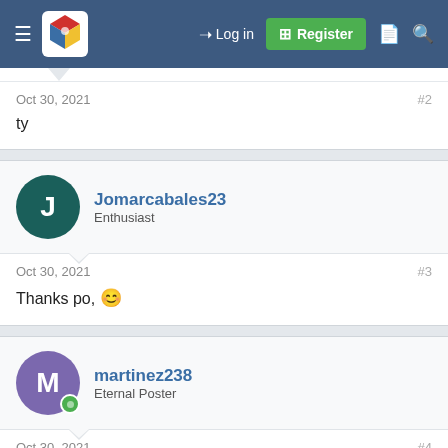Log in | Register
Oct 30, 2021   #2
ty
Jomarcabales23
Enthusiast
Oct 30, 2021   #3
Thanks po, 😊
martinez238
Eternal Poster
Oct 30, 2021   #4
Salamat idol